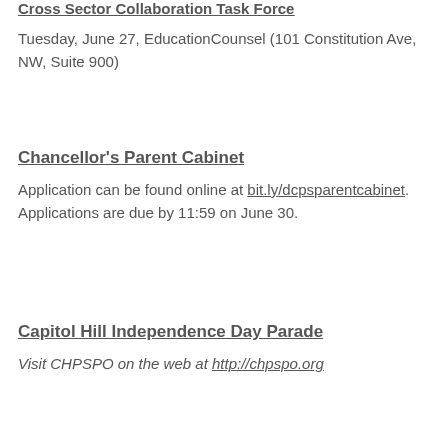Cross Sector Collaboration Task Force
Tuesday, June 27, EducationCounsel (101 Constitution Ave, NW, Suite 900)
Chancellor's Parent Cabinet
Application can be found online at bit.ly/dcpsparentcabinet. Applications are due by 11:59 on June 30.
Capitol Hill Independence Day Parade
Visit CHPSPO on the web at http://chpspo.org